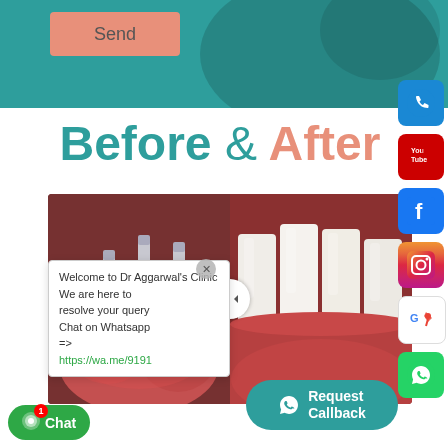[Figure (screenshot): Teal/green banner header with salmon-colored Send button]
Before & After
[Figure (photo): Before and after dental implant comparison: left shows dental implants (metal posts) in gum tissue, right shows finished dental crowns on teeth. A circular slider handle is visible in the middle.]
Welcome to Dr Aggarwal's Clinic We are here to resolve your query Chat on Whatsapp => https://wa.me/9191
Request Callback
Chat